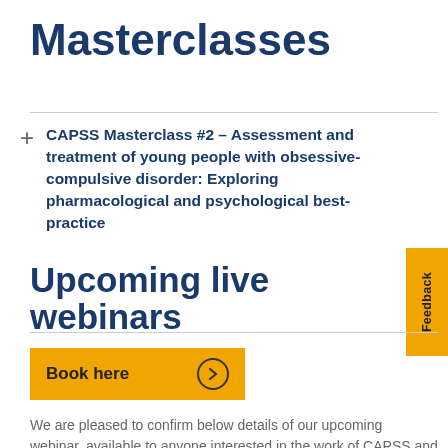Masterclasses
CAPSS Masterclass #2 – Assessment and treatment of young people with obsessive-compulsive disorder: Exploring pharmacological and psychological best-practice
Book here
Upcoming live webinars
We are pleased to confirm below details of our upcoming webinar, available to anyone interested in the work of CAPSS and related studies.